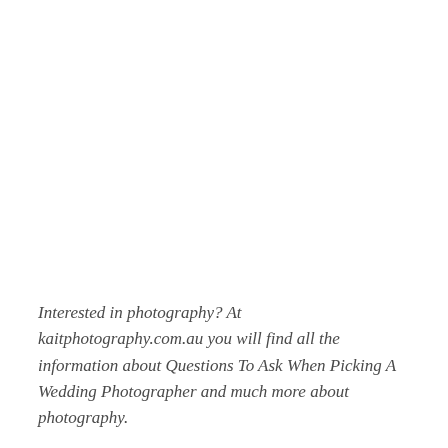Interested in photography? At kaitphotography.com.au you will find all the information about Questions To Ask When Picking A Wedding Photographer and much more about photography.